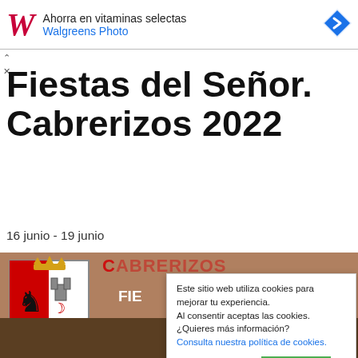[Figure (infographic): Walgreens advertisement banner with red cursive W logo, text 'Ahorra en vitaminas selectas' and 'Walgreens Photo', and a blue navigation arrow icon on the right]
Fiestas del Señor. Cabrerizos 2022
16 junio - 19 junio
[Figure (photo): Partial photo of Cabrerizos festival poster showing coat of arms and red text CABRERIZOS, FIE... text visible]
Este sitio web utiliza cookies para mejorar tu experiencia. Al consentir aceptas las cookies. ¿Quieres más información? Consulta nuestra política de cookies.
Ajustes de Cookies   ACCEPTO